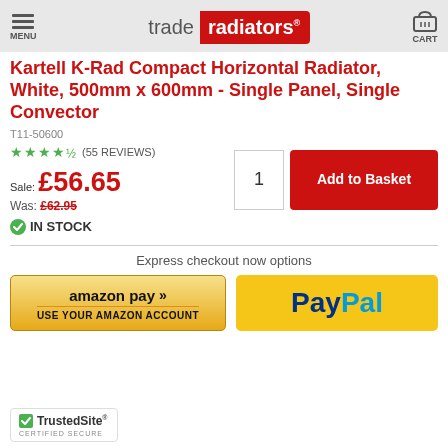trade radiators — MENU / CART
Kartell K-Rad Compact Horizontal Radiator, White, 500mm x 600mm - Single Panel, Single Convector
T11-50600
★★★★½ (55 REVIEWS)
Sale: £56.65
Was: £62.95
✔ IN STOCK
Express checkout now options
[Figure (screenshot): Amazon Pay button with text 'amazon pay >>' and 'USE YOUR AMAZON ACCOUNT']
[Figure (logo): PayPal checkout button]
[Figure (logo): TrustedSite Certified Secure badge]